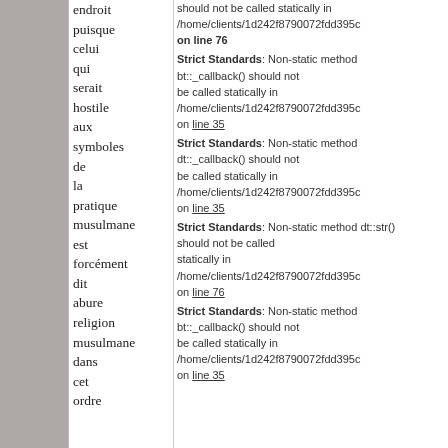endroit puisque celui qui serait hostile aux symboles de la pratique musulmane est forcément dit abure religion musulmane dans cet ordre
should not be called statically in /home/clients/1d242f8790072fdd395c on line 76 | Strict Standards: Non-static method bt::_callback() should not be called statically in /home/clients/1d242f8790072fdd395c on line 35 | Strict Standards: Non-static method dt::_callback() should not be called statically in /home/clients/1d242f8790072fdd395c on line 35 | Strict Standards: Non-static method dt::str() should not be called statically in /home/clients/1d242f8790072fdd395c on line 76 | Strict Standards: Non-static method bt::_callback() should not be called statically in /home/clients/1d242f8790072fdd395c on line 35